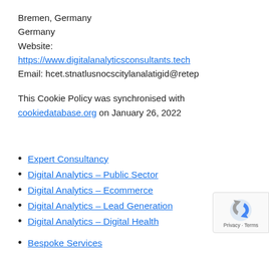Bremen, Germany
Germany
Website:
https://www.digitalanalyticsconsultants.tech
Email: hcet.stnatlusnocscitylanalatigid@retep
This Cookie Policy was synchronised with cookiedatabase.org on January 26, 2022
Expert Consultancy
Digital Analytics – Public Sector
Digital Analytics – Ecommerce
Digital Analytics – Lead Generation
Digital Analytics – Digital Health
Bespoke Services